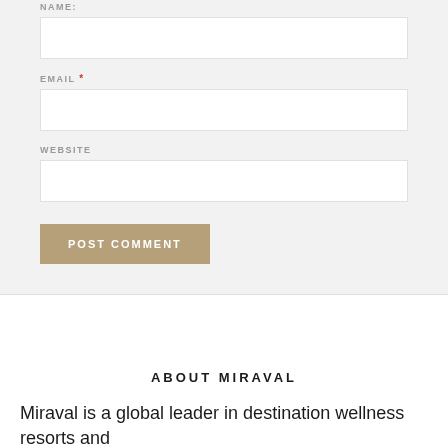NAME:
EMAIL *
WEBSITE
POST COMMENT
ABOUT MIRAVAL
Miraval is a global leader in destination wellness resorts and